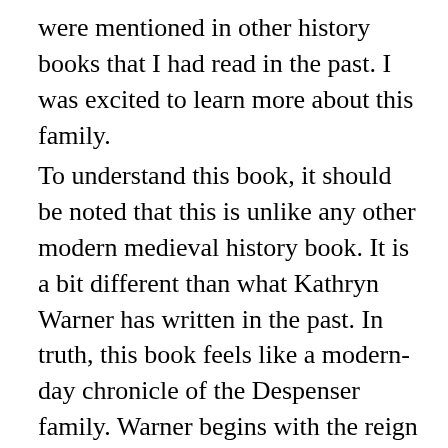were mentioned in other history books that I had read in the past. I was excited to learn more about this family.
To understand this book, it should be noted that this is unlike any other modern medieval history book. It is a bit different than what Kathryn Warner has written in the past. In truth, this book feels like a modern-day chronicle of the Despenser family. Warner begins with the reign of King Henry III in 1265 with the execution of the Despenser's patriarch, Hugh the justiciar, and concludes with Isabella Despenser, who was the grandmother of